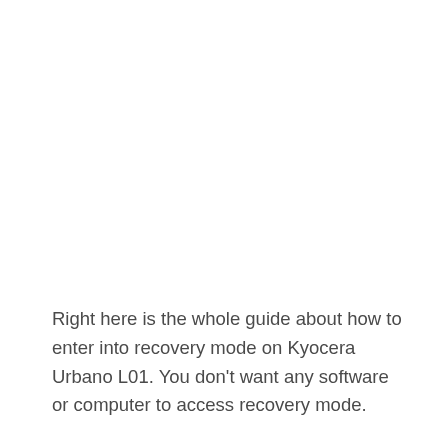Right here is the whole guide about how to enter into recovery mode on Kyocera Urbano L01. You don't want any software or computer to access recovery mode.